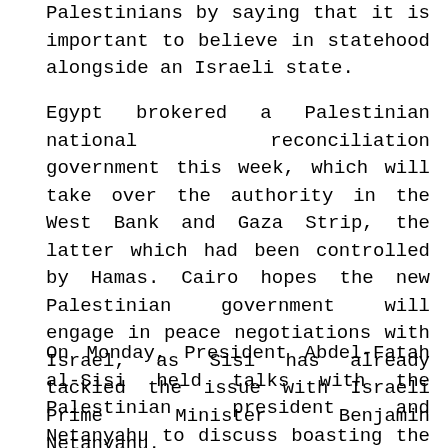Palestinians by saying that it is important to believe in statehood alongside an Israeli state.
Egypt brokered a Palestinian national reconciliation government this week, which will take over the authority in the West Bank and Gaza Strip, the latter which had been controlled by Hamas. Cairo hopes the new Palestinian government will engage in peace negotiations with Israel, as Sisi has already tackled the issue with Israeli Prime Minister Benjamin Netanyahu.
On Monday, President Abdel-Fatah al-Sisi held talks with the Palestinian president and Netanyahu to discuss boasting the peace talks.